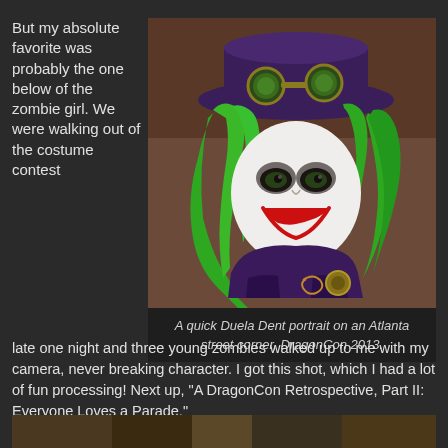But my absolute favorite was probably the one below of the zombie girl. We were walking out of the costume contest
[Figure (photo): Portrait of a person cosplaying as Duela Dent with bright green hair, white face paint with red lips, purple top hat with green goggle lenses, and steampunk-style purple jacket with gold details, photographed on an Atlanta street corner at DragonCon 2013.]
A quick Duela Dent portrait on an Atlanta street corner, DragonCon 2013.
late one night and three young zombies walked up to me with my camera, never breaking character. I got this shot, which I had a lot of fun processing! Next up, "A DragonCon Retrospective, Part II: Everyone Loves a Parade."
[Figure (photo): Partial view of another cosplay photo at the bottom of the page, showing what appears to be an elaborate costume.]